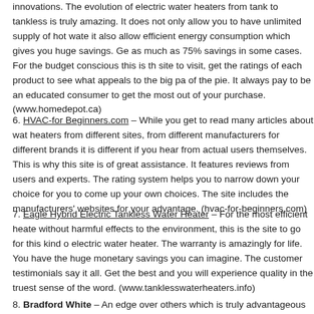innovations. The evolution of electric water heaters from tank to tankless is truly amazing. It does not only allow you to have unlimited supply of hot water, it also allow efficient energy consumption which gives you huge savings. Get as much as 75% savings in some cases. For the budget conscious this is the site to visit, get the ratings of each product to see what appeals to the big part of the pie. It always pay to be an educated consumer to get the most out of your purchase. (www.homedepot.ca)
6. HVAC-for Beginners.com – While you get to read many articles about water heaters from different sites, from different manufacturers for different brands, it is different if you hear from actual users themselves. This is why this site is of great assistance. It features reviews from users and experts. The rating system helps you to narrow down your choice for you to come up your own choices. The site includes the manufacturers' websites for your advantage. (hvac-for-beginners.com)
7. Eagle Hybrid Electric Tankless Water Heater – For the most efficient heater without harmful effects to the environment, this is the site to go for this kind of electric water heater. The warranty is amazingly for life. You have the huge monetary savings you can imagine. The customer testimonials say it all. Get the best and you will experience quality in the truest sense of the word. (www.tanklesswaterheaters.info)
8. Bradford White – An edge over others which is truly advantageous to you